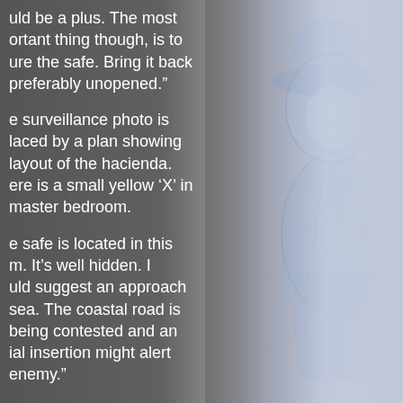uld be a plus. The most ortant thing though, is to ure the safe. Bring it back preferably unopened.”
e surveillance photo is laced by a plan showing layout of the hacienda. ere is a small yellow ‘X’ in master bedroom.
e safe is located in this m. It’s well hidden. I uld suggest an approach sea. The coastal road is being contested and an ial insertion might alert enemy.”
ty asks, “Once we have
[Figure (illustration): Hand-drawn sketch illustration of a figure in blue tones, appearing to be wearing a hat or helmet, rendered in pencil/ink style with blue coloring.]